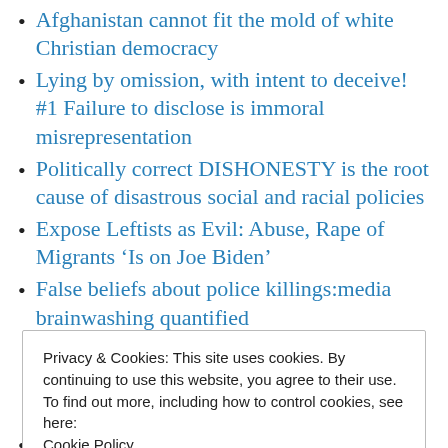Afghanistan cannot fit the mold of white Christian democracy
Lying by omission, with intent to deceive! #1 Failure to disclose is immoral misrepresentation
Politically correct DISHONESTY is the root cause of disastrous social and racial policies
Expose Leftists as Evil: Abuse, Rape of Migrants ‘Is on Joe Biden’
False beliefs about police killings:media brainwashing quantified
Privacy & Cookies: This site uses cookies. By continuing to use this website, you agree to their use.
To find out more, including how to control cookies, see here:
Cookie Policy
Close and accept
Beyond Equal Rights: Civil Rights for All!!!